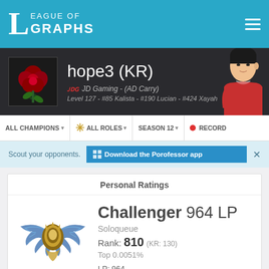League of Graphs
hope3 (KR)
JD Gaming - (AD Carry)
Level 127 - #85 Kalista - #190 Lucian - #424 Xayah
ALL CHAMPIONS ▾  ALL ROLES ▾  SEASON 12 ▾  ● RECORD
Scout your opponents.  Download the Porofessor app  ×
Personal Ratings
Challenger 964 LP
Soloqueue
Rank: 810 (KR: 130)
Top 0.0051%
LP: 964